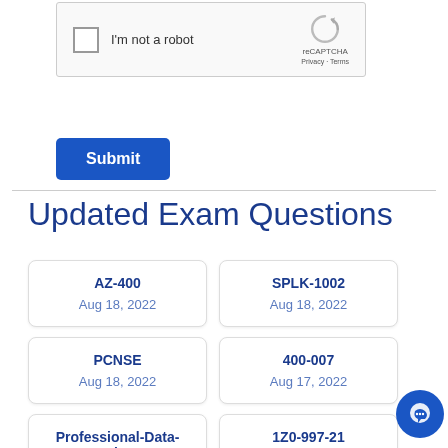[Figure (screenshot): reCAPTCHA widget with checkbox 'I'm not a robot' and reCAPTCHA logo with Privacy · Terms text]
Submit
Updated Exam Questions
AZ-400
Aug 18, 2022
SPLK-1002
Aug 18, 2022
PCNSE
Aug 18, 2022
400-007
Aug 17, 2022
Professional-Data-Engineer
Aug 18, 2022
1Z0-997-21
Aug 17, 2022